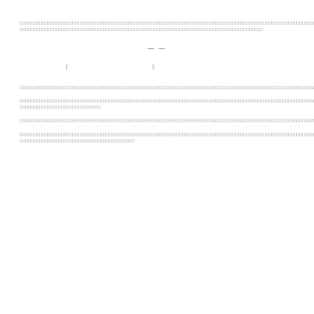□□□□□□□□□□□□□□□□□□□□□□□□□□□□□□□□□□□□□□□□□□□□□□□□□□□□□□□□□□□□□□□□□□□□□□□□□□□□□□□□□□□□□□□□□□□□□□□□□□□□□□□□□□□□□□□□□□□□□□□□□□□□□□□□□□□□□□□□□□□□□□□□□□□□□□
— —
（　　　　　　　）
□□□□□□□□□□□□□□□□□□□□□□□□□□□□□□□□□□□□□□□□□□□□□□□□□□□□□□□□□□□□□□□□□□□□□□□□□□□□□□□□□□□□
□□□□□□□□□□□□□□□□□□□□□□□□□□□□□□□□□□□□□□□□□□□□□□□□□□□□□□□□□□□□□□□□□□□□□□□□□□□□□□□□□□□□□□□□□□□□□□□□□□□□□□□□□□□□□□□□
□□□□□□□□□□□□□□□□□□□□□□□□□□□□□□□□□□□□□□□□□□□□□□□□□□□□□□□□□□□□□□□□□□□□□□□□□□□□□□
□□□□□□□□□□□□□□□□□□□□□□□□□□□□□□□□□□□□□□□□□□□□□□□□□□□□□□□□□□□□□□□□□□□□□□□□□□□□□□□□□□□□□□□□□□□□□□□□□□□□□□□□□□□□□□□□□□□□□□□□□□□□□□□□□□□□□□□□□□□□□□□□□□□□□□□□□□□□□□□□□□□□□□□□□□□□□□□□□□□□□□□□□□□□□□□□□□□□□□□□□□□□□□□□□□□□□□□□□□□□□□□□□□□□□□□□□□□□□□□□□□□□□□□□□□□□□□□□